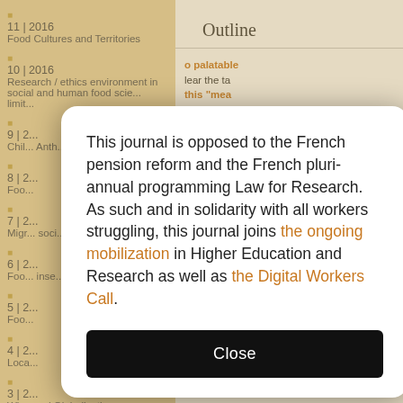11 | 2016
Food Cultures and Territories
10 | 2016
Research / ethics environment in social and human food sciences: limits
9 | 2...
Chil... Anth...
8 | 2...
Foo...
7 | 2...
Migr... soci... is no... disc...
6 | 2...
Foo... inse...
5 | 2...
Foo...
4 | 2...
Loca...
3 | 2...
Wine and Globalization
2 | 2003
Milk
1 | 2003
Outline
This journal is opposed to the French pension reform and the French pluri-annual programming Law for Research. As such and in solidarity with all workers struggling, this journal joins the ongoing mobilization in Higher Education and Research as well as the Digital Workers Call.
Close
From “Palatable w